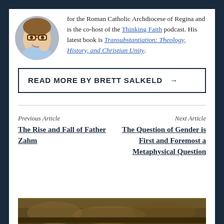[Figure (photo): Circular author photo of a young man with glasses, smiling, holding something near his face]
for the Roman Catholic Archdiocese of Regina and is the co-host of the Thinking Faith podcast. His latest book is Transubstantiation: Theology, History, and Christian Unity.
READ MORE BY BRETT SALKELD →
Previous Article
The Rise and Fall of Father Zahm
Next Article
The Question of Gender is First and Foremost a Metaphysical Question
[Figure (photo): Partial image at bottom of page showing what appears to be a dark painting or illustration]